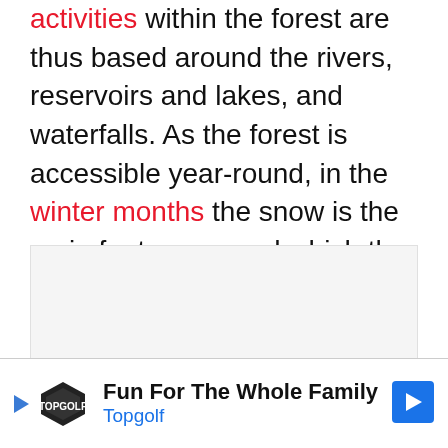activities within the forest are thus based around the rivers, reservoirs and lakes, and waterfalls. As the forest is accessible year-round, in the winter months the snow is the main feature around which the activities are based.
[Figure (other): Light gray rectangular placeholder image area]
[Figure (other): Advertisement banner: Topgolf - Fun For The Whole Family, with Topgolf logo and navigation arrow icon]